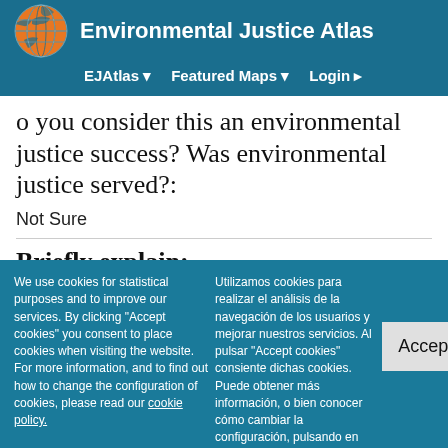Environmental Justice Atlas
EJAtlas | Featured Maps | Login
Do you consider this an environmental justice success? Was environmental justice served?:
Not Sure
Briefly explain:
The mobilization against the 2017 signed decree was effective and has
We use cookies for statistical purposes and to improve our services. By clicking "Accept cookies" you consent to place cookies when visiting the website. For more information, and to find out how to change the configuration of cookies, please read our cookie policy.
Utilizamos cookies para realizar el análisis de la navegación de los usuarios y mejorar nuestros servicios. Al pulsar "Accept cookies" consiente dichas cookies. Puede obtener más información, o bien conocer cómo cambiar la configuración, pulsando en más información.
Accept cookies